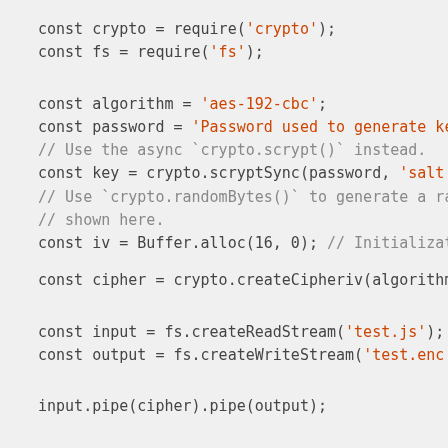const crypto = require('crypto');
const fs = require('fs');
const algorithm = 'aes-192-cbc';
const password = 'Password used to generate key';
// Use the async `crypto.scrypt()` instead.
const key = crypto.scryptSync(password, 'salt', 24
// Use `crypto.randomBytes()` to generate a rando
// shown here.
const iv = Buffer.alloc(16, 0); // Initialization
const cipher = crypto.createCipheriv(algorithm, ke
const input = fs.createReadStream('test.js');
const output = fs.createWriteStream('test.enc');
input.pipe(cipher).pipe(output);